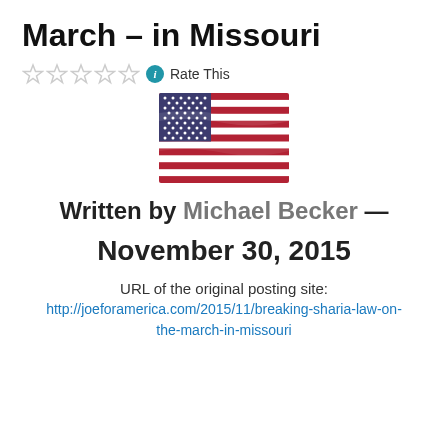March – in Missouri
☆☆☆☆☆ ℹ Rate This
[Figure (photo): Waving American flag image]
Written by Michael Becker —
November 30, 2015
URL of the original posting site:
http://joeforamerica.com/2015/11/breaking-sharia-law-on-the-march-in-missouri